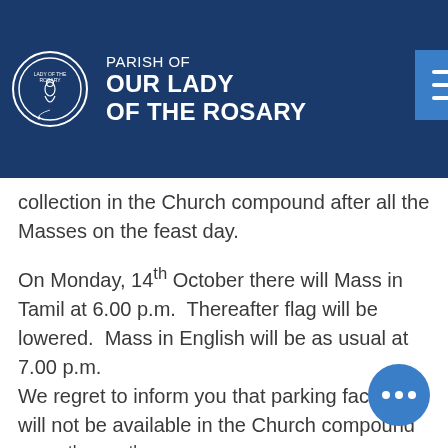PARISH OF OUR LADY OF THE ROSARY
collection in the Church compound after all the Masses on the feast day.
On Monday, 14th October there will Mass in Tamil at 6.00 p.m.  Thereafter flag will be lowered.  Mass in English will be as usual at 7.00 p.m.
We regret to inform you that parking facilities will not be available in the Church compound on 12th & 13th October.
Mission Sunday will be celebrated on Sunday, 20th October.  The Archdiocese allows us to make two collections on Mission Sunday.